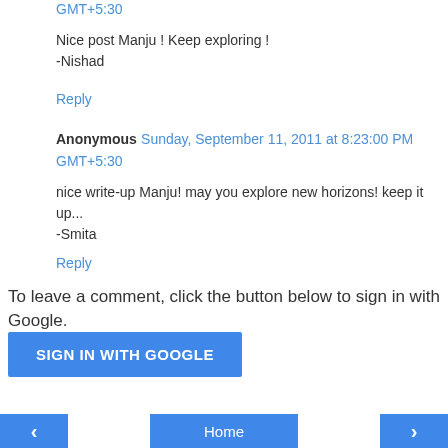GMT+5:30
Nice post Manju ! Keep exploring !
-Nishad
Reply
Anonymous Sunday, September 11, 2011 at 8:23:00 PM GMT+5:30
nice write-up Manju! may you explore new horizons! keep it up...
-Smita
Reply
To leave a comment, click the button below to sign in with Google.
SIGN IN WITH GOOGLE
< Home >